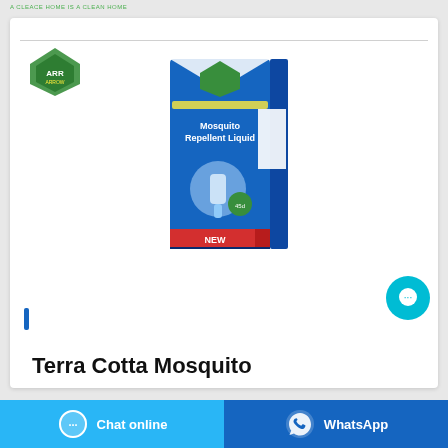A CLEACE HOME IS A CLEAN HOME
[Figure (photo): Arrow brand logo - green diamond shield shape with arrow text, and Arrow Mosquito Repellent Liquid product box in blue packaging with mosquito repellent device image]
Terra Cotta Mosquito
Chat online
WhatsApp